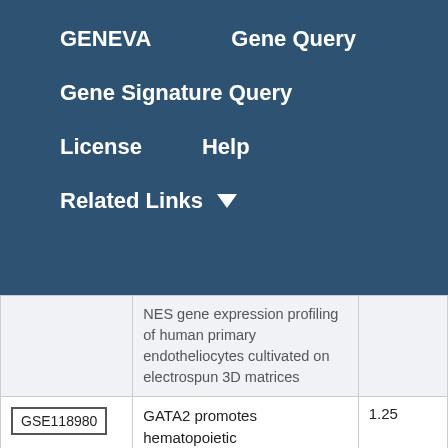GENEVA   Gene Query
Gene Signature Query
License   Help
Related Links ▼
|  | NES gene expression profiling of human primary endotheliocytes cultivated on electrospun 3D matrices |  |
| GSE118980 | GATA2 promotes hematopoietic | 1.25 |